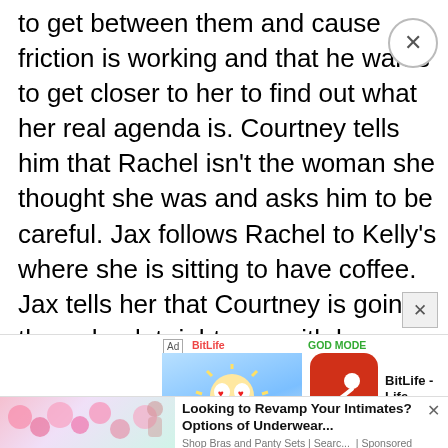to get between them and cause friction is working and that he wants to get closer to her to find out what her real agenda is. Courtney tells him that Rachel isn't the woman she thought she was and asks him to be careful. Jax follows Rachel to Kelly's where she is sitting to have coffee. Jax tells her that Courtney is going through a lot right now with her family and is worried about her family including what happened to Mike. Rachel tells him it is o.k. She invites him to sit with her
[Figure (screenshot): Advertisement banner 1: BitLife Life Simulator app ad with animated cartoon character on blue background]
[Figure (screenshot): Advertisement banner 2: Looking to Revamp Your Intimates? Options of Underwear... Shop Bras and Panty Sets | Searc... | Sponsored, with floral background image]